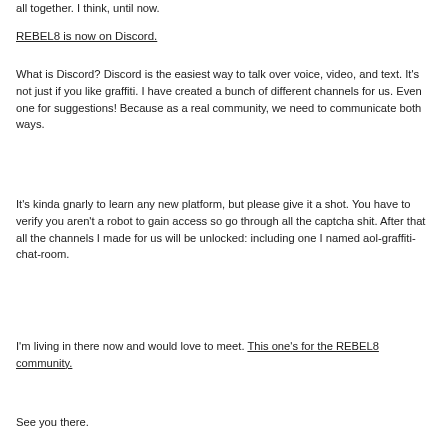all together. I think, until now.
REBEL8 is now on Discord.
What is Discord? Discord is the easiest way to talk over voice, video, and text. It's not just if you like graffiti. I have created a bunch of different channels for us. Even one for suggestions! Because as a real community, we need to communicate both ways.
It's kinda gnarly to learn any new platform, but please give it a shot. You have to verify you aren't a robot to gain access so go through all the captcha shit. After that all the channels I made for us will be unlocked: including one I named aol-graffiti-chat-room.
I'm living in there now and would love to meet. This one's for the REBEL8 community.
See you there.